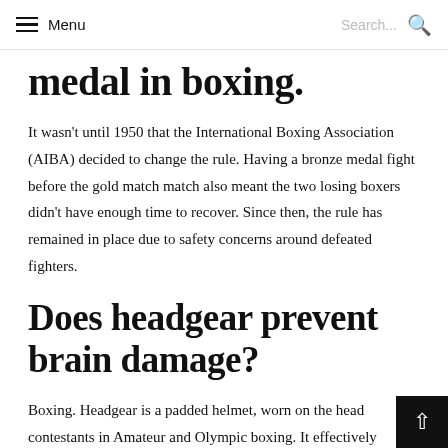Menu | Search...
medal in boxing.
It wasn't until 1950 that the International Boxing Association (AIBA) decided to change the rule. Having a bronze medal fight before the gold match match also meant the two losing boxers didn't have enough time to recover. Since then, the rule has remained in place due to safety concerns around defeated fighters.
Does headgear prevent brain damage?
Boxing. Headgear is a padded helmet, worn on the head contestants in Amateur and Olympic boxing. It effectively